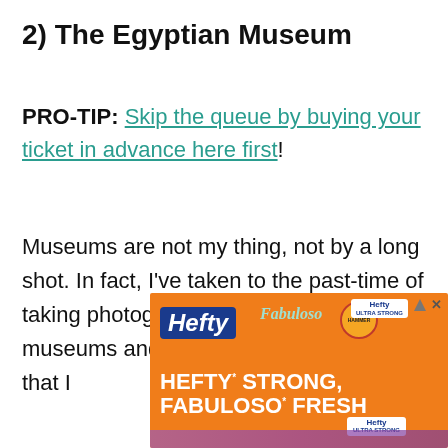2) The Egyptian Museum
PRO-TIP: Skip the queue by buying your ticket in advance here first!
Museums are not my thing, not by a long shot. In fact, I’ve taken to the past-time of taking photographs of myself OUTSIDE museums and pretending to my family that I
[Figure (photo): Hefty and Fabuloso advertisement banner with orange background showing 'HEFTY STRONG, FABULOSO FRESH' text and product images]